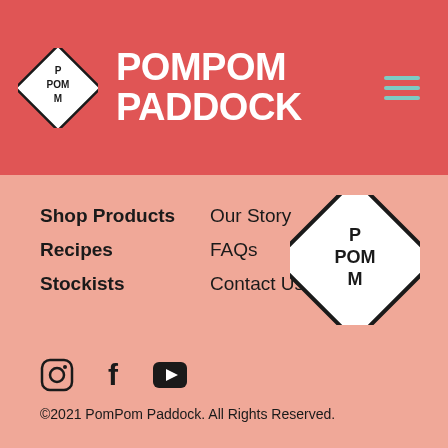POMPOM PADDOCK
Shop Products
Recipes
Stockists
Our Story
FAQs
Contact Us
[Figure (logo): PomPom Paddock diamond logo with text P POM M]
[Figure (logo): Social media icons: Instagram, Facebook, YouTube]
©2021 PomPom Paddock. All Rights Reserved.